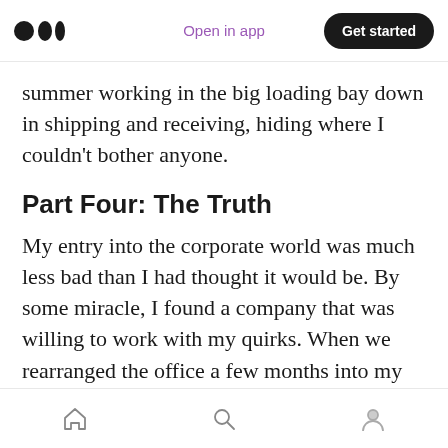Open in app | Get started
summer working in the big loading bay down in shipping and receiving, hiding where I couldn't bother anyone.
Part Four: The Truth
My entry into the corporate world was much less bad than I had thought it would be. By some miracle, I found a company that was willing to work with my quirks. When we rearranged the office a few months into my time there, I had a special pacing area near my desk. I felt frenetic and exhausted, but I was happy: I liked my
Home | Search | Profile